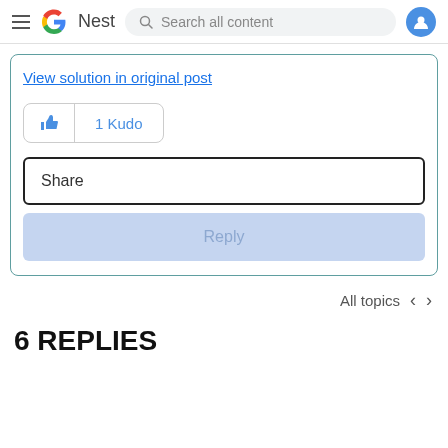Google Nest — Search all content
View solution in original post
1 Kudo
Share
Reply
All topics
6 REPLIES